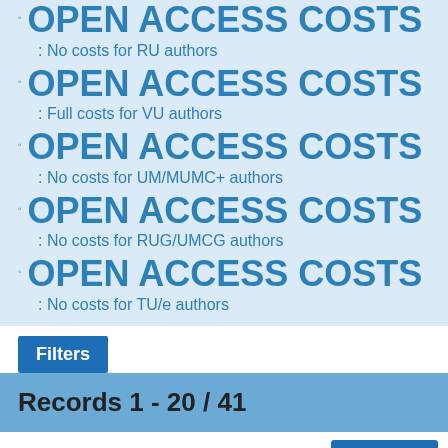OPEN ACCESS COSTS: No costs for RU authors
OPEN ACCESS COSTS: Full costs for VU authors
OPEN ACCESS COSTS: No costs for UM/MUMC+ authors
OPEN ACCESS COSTS: No costs for RUG/UMCG authors
OPEN ACCESS COSTS: No costs for TU/e authors
Filters
Records 1 - 20 / 41
Sort by